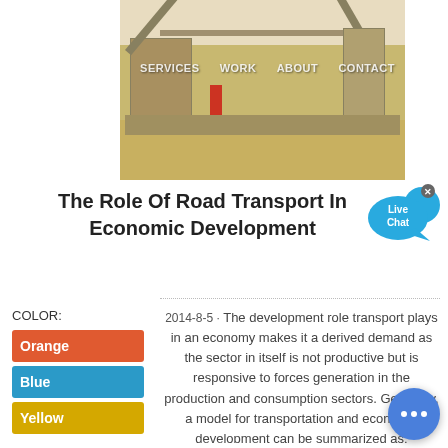[Figure (photo): Industrial mining/conveyor equipment at a desert construction site, with diagonal conveyor belts and heavy machinery visible against a sandy background]
SERVICES   WORK   ABOUT   CONTACT
The Role Of Road Transport In Economic Development
COLOR:
Orange
Blue
Yellow
2014-8-5 · The development role transport plays in an economy makes it a derived demand as the sector in itself is not productive but is responsive to forces generation in the production and consumption sectors. Generally, a model for transportation and economic development can be summarized as: Providing...